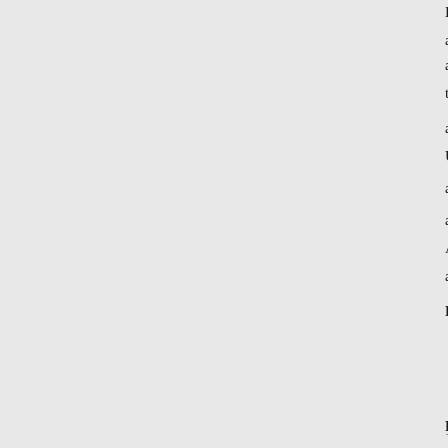Public Law 79-733; 7 U.S.C. 162 and
agriculture essential to farmers, p to legislators, administrators, and administering programs. TYPES USE RESTRICTIONS: Copies c and reports of production, supply agricultural economy are availab Applicant Eligibility: General pu and processing groups, transporta
FINANCIAL INFORMATION:
Account Identification: 05-2
Obligations: (Salaries and e
$17,879,000; and FY 72 est $1
PROGRAM ACCOMPLISHME
150 Crop and Livestock products official reports issued from all o on the mailing lists and all others year to year. REGULATIONS, G